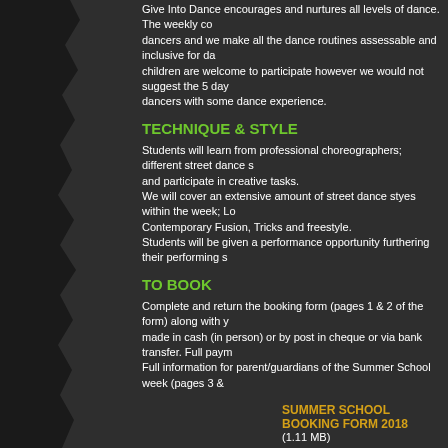Give Into Dance encourages and nurtures all levels of dance. The weekly co dancers and we make all the dance routines assessable and inclusive for da children are welcome to participate however we would not suggest the 5 day dancers with some dance experience.
TECHNIQUE & STYLE
Students will learn from professional choreographers; different street dance s and participate in creative tasks. We will cover an extensive amount of street dance styes within the week; Lo Contemporary Fusion, Tricks and freestyle. Students will be given a performance opportunity furthering their performing s
TO BOOK
Complete and return the booking form (pages 1 & 2 of the form) along with y made in cash (in person) or by post in cheque or via bank transfer. Full paym Full information for parent/guardians of the Summer School week (pages 3 &
SUMMER SCHOOL BOOKING FORM 2018
(1.11 MB)
SUMMER SCHOOL PRICES 2018:
New Students - £155 Week booking
G.I.D Students - £140 Week booking
Day Pass - £35 a day
*10% Sibling discount applied on Two Full week bookings.